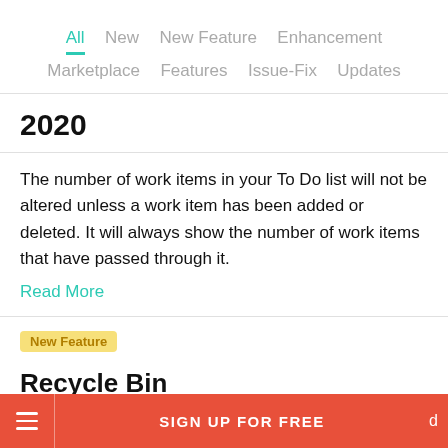All  New  New Feature  Enhancement  Marketplace  Features  Issue-Fix  Updates
2020
The number of work items in your To Do list will not be altered unless a work item has been added or deleted. It will always show the number of work items that have passed through it.
Read More
New Feature
Recycle Bin
SIGN UP FOR FREE